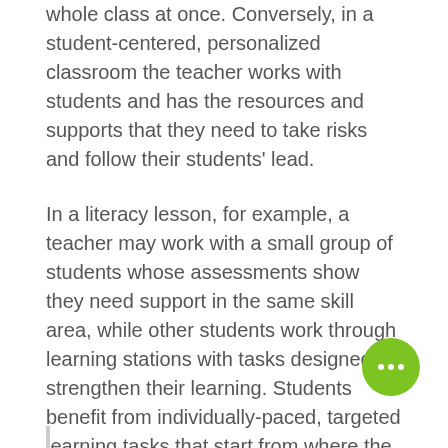whole class at once. Conversely, in a student-centered, personalized classroom the teacher works with students and has the resources and supports that they need to take risks and follow their students' lead.
In a literacy lesson, for example, a teacher may work with a small group of students whose assessments show they need support in the same skill area, while other students work through learning stations with tasks designed to strengthen their learning. Students benefit from individually-paced, targeted learning tasks that start from where the student is, formatively assess existing skills and knowledge and address the student's needs and interests.
[Figure (other): Green circular chat/comment button icon in bottom right corner]